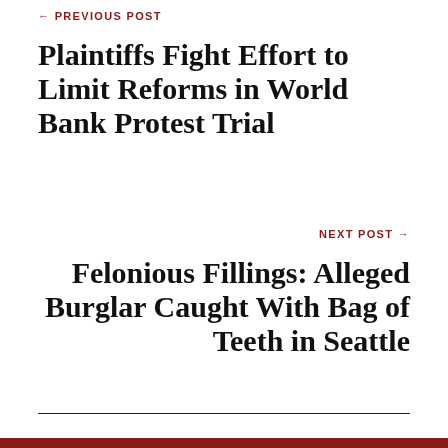← PREVIOUS POST
Plaintiffs Fight Effort to Limit Reforms in World Bank Protest Trial
NEXT POST →
Felonious Fillings: Alleged Burglar Caught With Bag of Teeth in Seattle